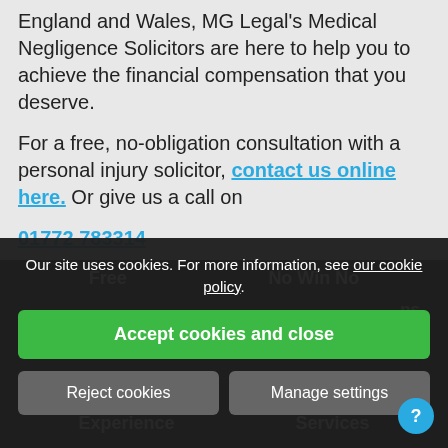No matter where you are injured across England and Wales, MG Legal's Medical Negligence Solicitors are here to help you to achieve the financial compensation that you deserve.
For a free, no-obligation consultation with a personal injury solicitor, contact us online here. Or give us a call on 01772 783314
Our site uses cookies. For more information, see our cookie policy.
Accept cookies and close
Reject cookies
Manage settings
Free    No Win No
Breach of    Nationwide
Experience    Services